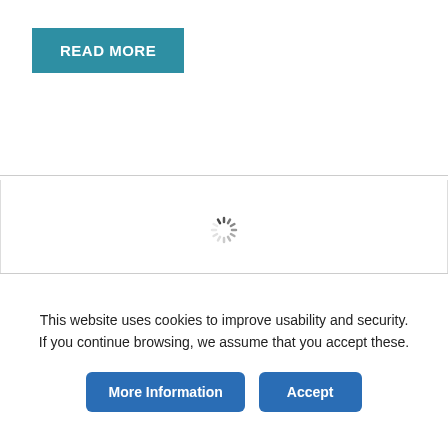READ MORE
[Figure (other): Loading spinner (animated dashes in circular pattern) indicating content is loading]
This website uses cookies to improve usability and security. If you continue browsing, we assume that you accept these.
More Information
Accept